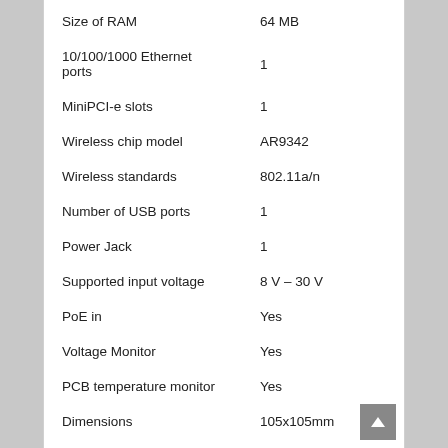| Specification | Value |
| --- | --- |
| Size of RAM | 64 MB |
| 10/100/1000 Ethernet ports | 1 |
| MiniPCI-e slots | 1 |
| Wireless chip model | AR9342 |
| Wireless standards | 802.11a/n |
| Number of USB ports | 1 |
| Power Jack | 1 |
| Supported input voltage | 8 V – 30 V |
| PoE in | Yes |
| Voltage Monitor | Yes |
| PCB temperature monitor | Yes |
| Dimensions | 105x105mm |